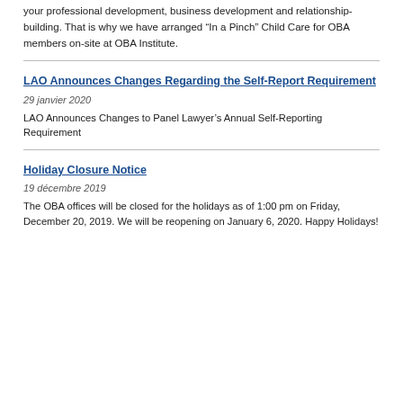your professional development, business development and relationship-building. That is why we have arranged “In a Pinch” Child Care for OBA members on-site at OBA Institute.
LAO Announces Changes Regarding the Self-Report Requirement
29 janvier 2020
LAO Announces Changes to Panel Lawyer’s Annual Self-Reporting Requirement
Holiday Closure Notice
19 décembre 2019
The OBA offices will be closed for the holidays as of 1:00 pm on Friday, December 20, 2019. We will be reopening on January 6, 2020. Happy Holidays!